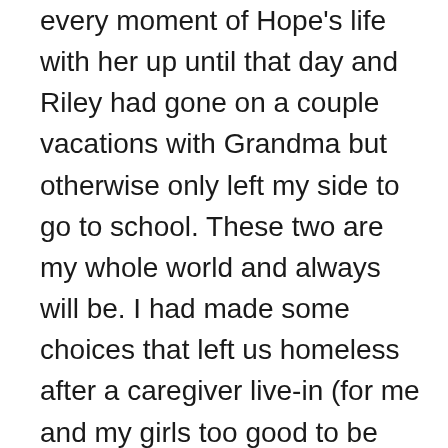every moment of Hope's life with her up until that day and Riley had gone on a couple vacations with Grandma but otherwise only left my side to go to school. These two are my whole world and always will be. I had made some choices that left us homeless after a caregiver live-in (for me and my girls too good to be true right… bed bugs!) position went awry and we were no longer able to stay there and my grandparents (where we had been staying prior to moving for the job) wouldn't let me go back, only the girls could. And I did send them to stay there for a week while I got us set up in the motel and Riley's transportation arrangements made for school got worked out. At that point it was the longest period I'd been away from Hope ever and I thought THAT was hard, little did I know what Grayson had in store.